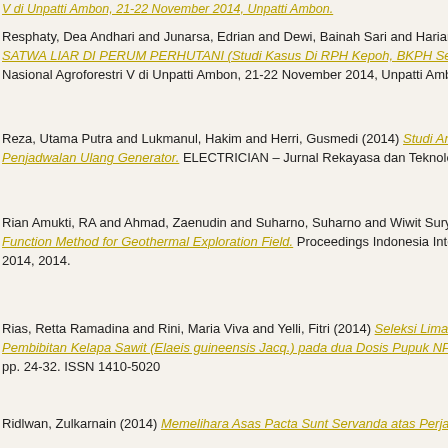V di Unpatti Ambon, 21-22 November 2014, Unpatti Ambon.
Resphaty, Dea Andhari and Junarsa, Edrian and Dewi, Bainah Sari and Hariant... SATWA LIAR DI PERUM PERHUTANI (Studi Kasus Di RPH Kepoh, BKPH Sel... Nasional Agroforestri V di Unpatti Ambon, 21-22 November 2014, Unpatti Ambo...
Reza, Utama Putra and Lukmanul, Hakim and Herri, Gusmedi (2014) Studi Ana... Penjadwalan Ulang Generator. ELECTRICIAN – Jurnal Rekayasa dan Teknolog...
Rian Amukti, RA and Ahmad, Zaenudin and Suharno, Suharno and Wiwit Surya... Function Method for Geothermal Exploration Field. Proceedings Indonesia Inter... 2014, 2014.
Rias, Retta Ramadina and Rini, Maria Viva and Yelli, Fitri (2014) Seleksi Lima I... Pembibitan Kelapa Sawit (Elaeis guineensis Jacq.) pada dua Dosis Pupuk NPK... pp. 24-32. ISSN 1410-5020
Ridlwan, Zulkarnain (2014) Memelihara Asas Pacta Sunt Servanda atas Perja...